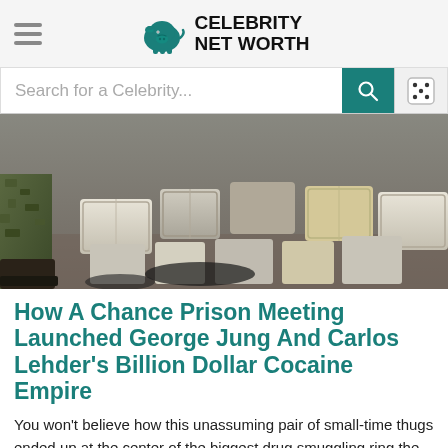Celebrity Net Worth
Search for a Celebrity...
[Figure (photo): Bundles of wrapped packages on the ground with a person in camouflage pants standing to the left, suggesting a drug seizure]
How A Chance Prison Meeting Launched George Jung And Carlos Lehder's Billion Dollar Cocaine Empire
You won't believe how this unassuming pair of small-time thugs ended up at the center of the biggest drug smuggling ring the world has ever seen.
[Figure (photo): Partially visible image at bottom of page, faint pink/red tones with silhouette shapes]